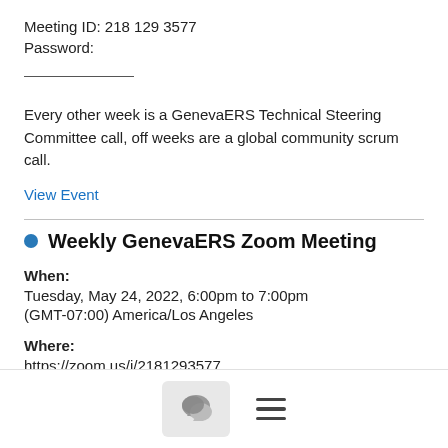Meeting ID: 218 129 3577
Password:
Every other week is a GenevaERS Technical Steering Committee call, off weeks are a global community scrum call.
View Event
Weekly GenevaERS Zoom Meeting
When:
Tuesday, May 24, 2022, 6:00pm to 7:00pm
(GMT-07:00) America/Los Angeles
Where:
https://zoom.us/j/2181293577
Organizer: Kip Twitchell Kip.twitchell@... 6302480443
Details:
[Figure (screenshot): Bottom navigation bar with chat bubble icon button and hamburger menu icon]